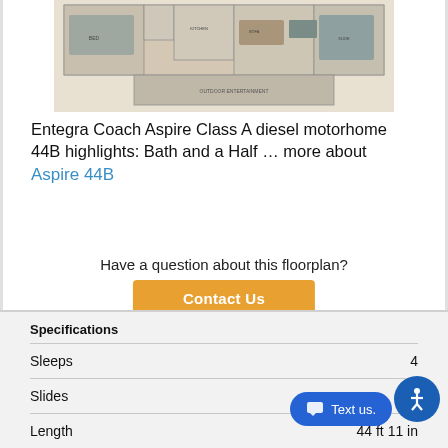[Figure (illustration): RV floor plan diagram for Entegra Coach Aspire 44B showing interior layout with labeled rooms and furniture]
Entegra Coach Aspire Class A diesel motorhome 44B highlights: Bath and a Half … more about Aspire 44B
Have a question about this floorplan?
Contact Us
Specifications
| Specification | Value |
| --- | --- |
| Sleeps | 4 |
| Slides | 4 |
| Length | 44 ft 11 in |